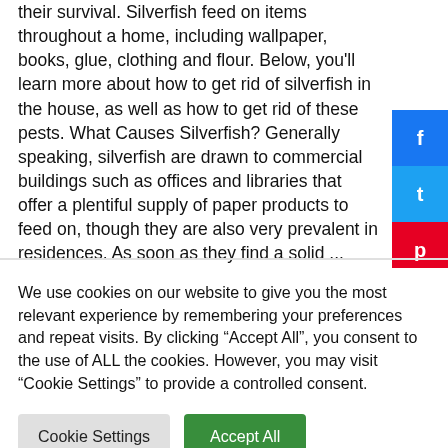their survival. Silverfish feed on items throughout a home, including wallpaper, books, glue, clothing and flour. Below, you'll learn more about how to get rid of silverfish in the house, as well as how to get rid of these pests. What Causes Silverfish? Generally speaking, silverfish are drawn to commercial buildings such as offices and libraries that offer a plentiful supply of paper products to feed on, though they are also very prevalent in residences. As soon as they find a solid ...
We use cookies on our website to give you the most relevant experience by remembering your preferences and repeat visits. By clicking “Accept All”, you consent to the use of ALL the cookies. However, you may visit “Cookie Settings” to provide a controlled consent.
Cookie Settings | Accept All